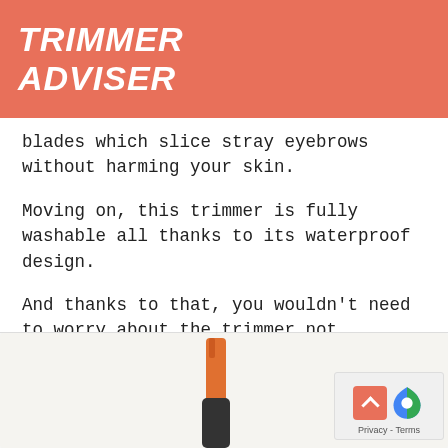TRIMMER ADVISER
blades which slice stray eyebrows without harming your skin.
Moving on, this trimmer is fully washable all thanks to its waterproof design.
And thanks to that, you wouldn’t need to worry about the trimmer not starting just because it’s blocked by dirt.
[Figure (photo): Bottom portion of a trimmer device shown against a light background, partially visible at the bottom of the page. A privacy/reCAPTCHA badge is visible in the bottom right corner.]